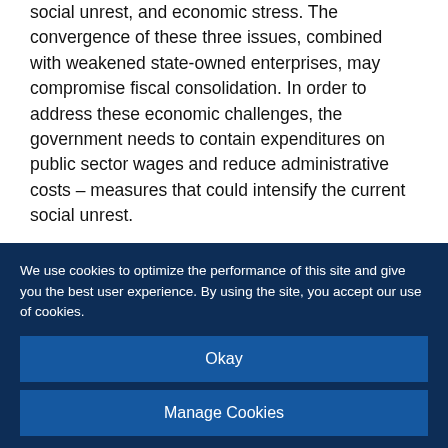social unrest, and economic stress. The convergence of these three issues, combined with weakened state-owned enterprises, may compromise fiscal consolidation. In order to address these economic challenges, the government needs to contain expenditures on public sector wages and reduce administrative costs – measures that could intensify the current social unrest.
Furthermore, commodity exports are expected to remain affected by high production costs in the region, narrowing the potential profits for
We use cookies to optimize the performance of this site and give you the best user experience. By using the site, you accept our use of cookies.